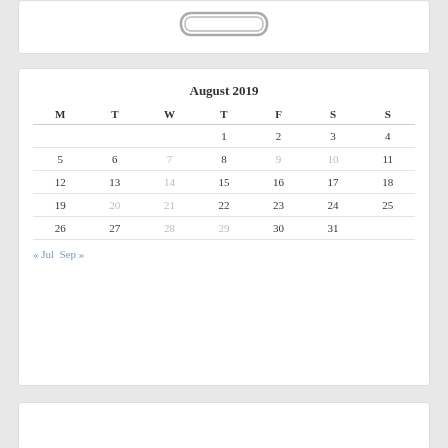[Figure (logo): Logo/stamp image at top of page inside white card]
| M | T | W | T | F | S | S |
| --- | --- | --- | --- | --- | --- | --- |
|  |  |  | 1 | 2 | 3 | 4 |
| 5 | 6 | 7 | 8 | 9 | 10 | 11 |
| 12 | 13 | 14 | 15 | 16 | 17 | 18 |
| 19 | 20 | 21 | 22 | 23 | 24 | 25 |
| 26 | 27 | 28 | 29 | 30 | 31 |  |
« Jul  Sep »